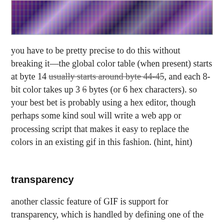[Figure (photo): A glitched/corrupted GIF image showing abstract colorful distorted bands of purple, teal, yellow and black pixels]
you have to be pretty precise to do this without breaking it—the global color table (when present) starts at byte 14 usually starts around byte 44-45, and each 8-bit color takes up 3 6 bytes (or 6 hex characters). so your best bet is probably using a hex editor, though perhaps some kind soul will write a web app or processing script that makes it easy to replace the colors in an existing gif in this fashion. (hint, hint)
transparency
another classic feature of GIF is support for transparency, which is handled by defining one of the colors in the table as transparent. but this can go wrong: google+ used to have a glitch in its gif uploader that confused transparent pixels with solid black ones, and vice versa. this created bizarre ghosting artifacts, as it would just lay the frames on top of each other, with some bits invisible so you could see the